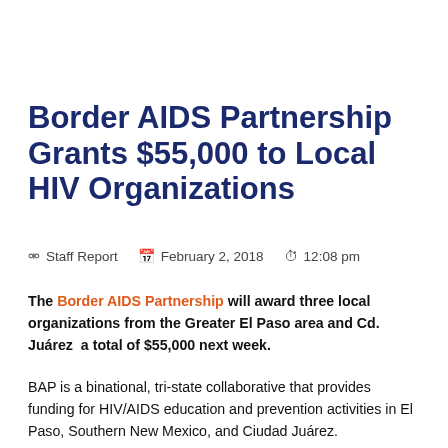Border AIDS Partnership Grants $55,000 to Local HIV Organizations
Staff Report   February 2, 2018   12:08 pm
The Border AIDS Partnership will award three local organizations from the Greater El Paso area and Cd. Juárez  a total of $55,000 next week.
BAP is a binational, tri-state collaborative that provides funding for HIV/AIDS education and prevention activities in El Paso, Southern New Mexico, and Ciudad Juárez.